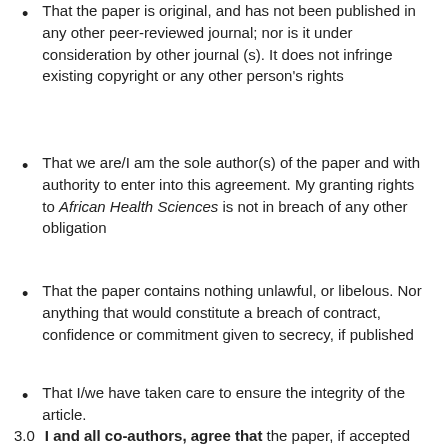That the paper is original, and has not been published in any other peer-reviewed journal; nor is it under consideration by other journal (s). It does not infringe existing copyright or any other person's rights
That we are/I am the sole author(s) of the paper and with authority to enter into this agreement. My granting rights to African Health Sciences is not in breach of any other obligation
That the paper contains nothing unlawful, or libelous. Nor anything that would constitute a breach of contract, confidence or commitment given to secrecy, if published
That I/we have taken care to ensure the integrity of the article.
3.0  I and all co-authors, agree that the paper, if accepted for